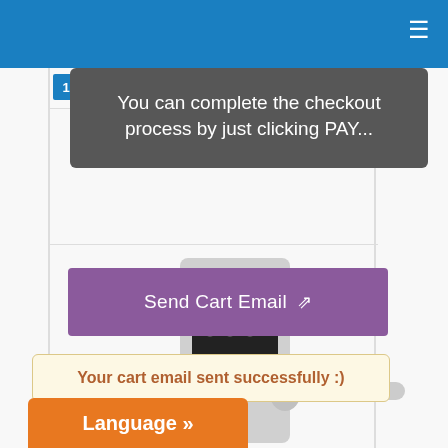≡
You can complete the checkout process by just clicking PAY...
[Figure (screenshot): Purple 'Send Cart Email' button with share icon]
Your cart email sent successfully :)
[Figure (photo): Silver electronic door lock with keypad and lever handle]
Language »